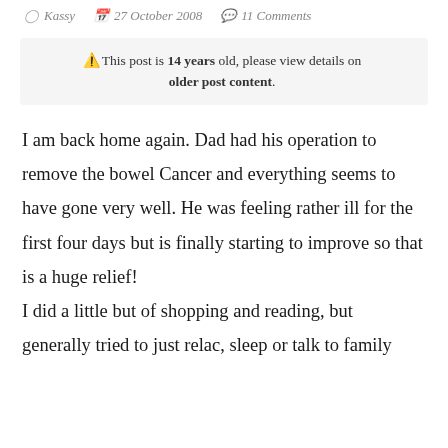Kassy  27 October 2008  11 Comments
⚠ This post is 14 years old, please view details on older post content.
I am back home again. Dad had his operation to remove the bowel Cancer and everything seems to have gone very well. He was feeling rather ill for the first four days but is finally starting to improve so that is a huge relief!
I did a little but of shopping and reading, but generally tried to just relac, sleep or talk to family